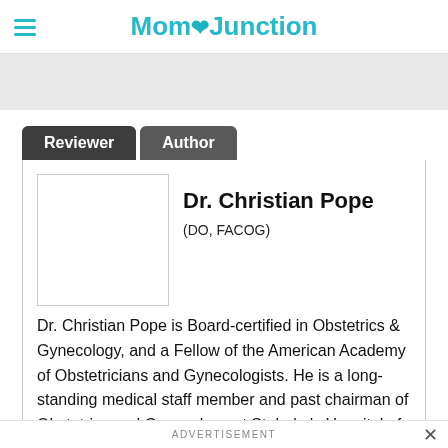MomJunction
[Figure (screenshot): Gray advertisement banner placeholder below header]
Reviewer  Author
Dr. Christian Pope
(DO, FACOG)
Dr. Christian Pope is Board-certified in Obstetrics & Gynecology, and a Fellow of the American Academy of Obstetricians and Gynecologists. He is a long-standing medical staff member and past chairman of Obstetrics and Gynecology at St. Luke's Hospital of SouthCoast Hospitals in New Bedford, Massachusetts and is in
ADVERTISEMENT